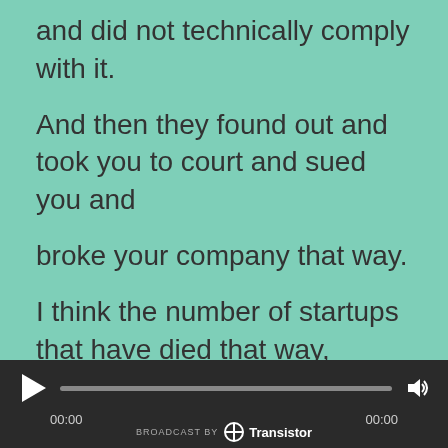and did not technically comply with it.
And then they found out and took you to court and sued you and
broke your company that way.
I think the number of startups that have died that way, probably very, very small.
And so 99% of the time I wouldn't worry about it quite as much.
Like, every single beautiful
[Figure (screenshot): Audio player bar with play button, progress bar, volume icon, timestamps 00:00 on both sides, and 'BROADCAST BY Transistor' label at the bottom]